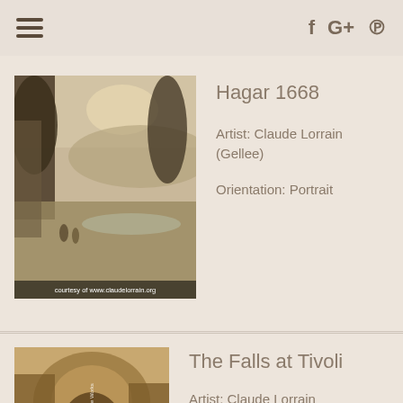≡   f  G+  ℗
Hagar 1668
Artist: Claude Lorrain (Gellee)
Orientation: Portrait
[Figure (photo): Painting of a landscape with figures, courtesy of www.claudelorrain.org]
The Falls at Tivoli
Artist: Claude Lorrain (Gellee)
Orientation: Portrait
[Figure (photo): Sepia-toned painting of rocky falls at Tivoli with figures]